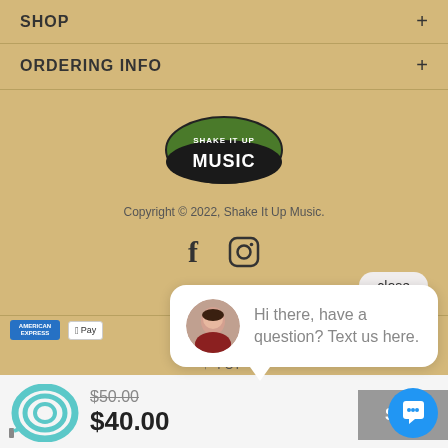SHOP
ORDERING INFO
[Figure (logo): Shake It Up Music logo — oval badge with green top and dark bottom, text SHAKE IT UP MUSIC]
Copyright © 2022, Shake It Up Music.
[Figure (other): Facebook and Instagram social media icons]
close
[Figure (other): American Express and Apple Pay payment badges]
↑ TOP
[Figure (photo): Teal/blue coiled guitar cable product image]
$50.00 $40.00
SOLD OUT
Hi there, have a question? Text us here.